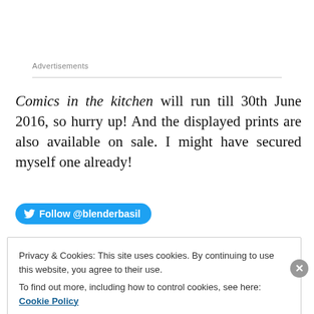Advertisements
Comics in the kitchen will run till 30th June 2016, so hurry up! And the displayed prints are also available on sale. I might have secured myself one already!
[Figure (other): Twitter Follow button: Follow @blenderbasil]
Privacy & Cookies: This site uses cookies. By continuing to use this website, you agree to their use. To find out more, including how to control cookies, see here: Cookie Policy
Close and accept